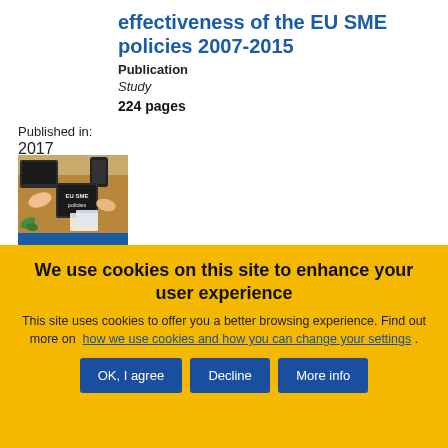effectiveness of the EU SME policies 2007-2015
Publication
Study
224 pages
Published in:
2017
[Figure (photo): Cover image of EU SME policies publication showing hands working at a desk with a chalkboard sign reading 'EU SME policies']
We use cookies on this site to enhance your user experience
This site uses cookies to offer you a better browsing experience. Find out more on how we use cookies and how you can change your settings .